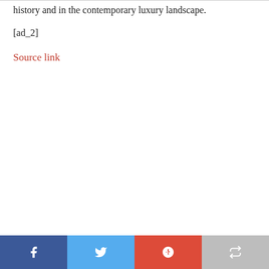history and in the contemporary luxury landscape.
[ad_2]
Source link
Social share buttons: Facebook, Twitter, Google+, Share